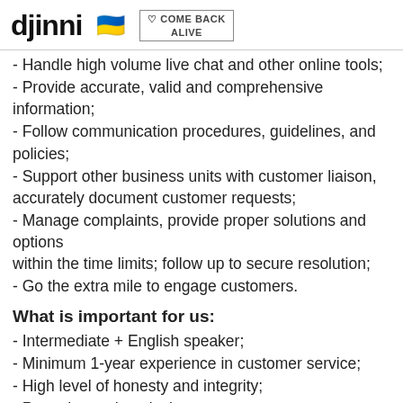djinni 🇺🇦  COME BACK ALIVE
- Handle high volume live chat and other online tools;
- Provide accurate, valid and comprehensive information;
- Follow communication procedures, guidelines, and policies;
- Support other business units with customer liaison, accurately document customer requests;
- Manage complaints, provide proper solutions and options within the time limits; follow up to secure resolution;
- Go the extra mile to engage customers.
What is important for us:
- Intermediate + English speaker;
- Minimum 1-year experience in customer service;
- High level of honesty and integrity;
- Proactive and meticulous;
- A sense of responsibility and team work spirit;
- Ability to work under pressure, strong communication skills and exceed beyond expectation;
- Passionate for customer service industry and can accept to